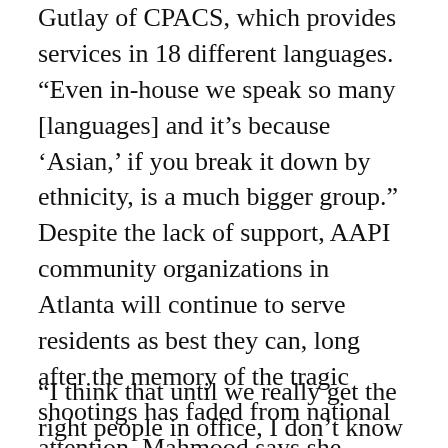Gutlay of CPACS, which provides services in 18 different languages. “Even in-house we speak so many [languages] and it’s because ‘Asian,’ if you break it down by ethnicity, is a much bigger group.”
Despite the lack of support, AAPI community organizations in Atlanta will continue to serve residents as best they can, long after the memory of the tragic shootings has faded from national attention. Mahmood says she doesn’t expect that to change anytime soon.
“I think that until we really get the right people in office, I don’t know that we’ll be able to really have an expectation that local or